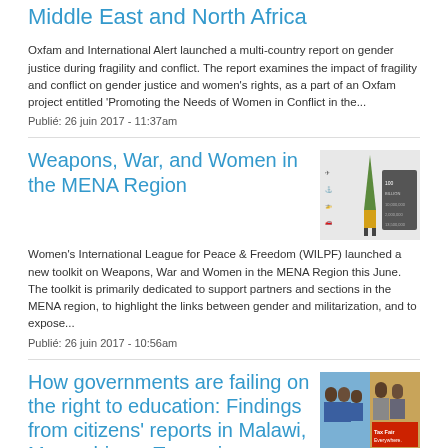Middle East and North Africa
Oxfam and International Alert launched a multi-country report on gender justice during fragility and conflict. The report examines the impact of fragility and conflict on gender justice and women’s rights, as a part of an Oxfam project entitled ‘Promoting the Needs of Women in Conflict in the...
Publié: 26 juin 2017 - 11:37am
Weapons, War, and Women in the MENA Region
[Figure (infographic): Infographic thumbnail showing statistics about weapons and women in the MENA region with icons and numbers]
Women's International League for Peace & Freedom (WILPF) launched a new toolkit on Weapons, War and Women in the MENA Region this June. The toolkit is primarily dedicated to support partners and sections in the MENA region, to highlight the links between gender and militarization, and to expose...
Publié: 26 juin 2017 - 10:56am
How governments are failing on the right to education: Findings from citizens’ reports in Malawi, Mozambique, Tanzania
[Figure (photo): Photo collage showing children and a protest sign reading Tax Fair Everywhere]